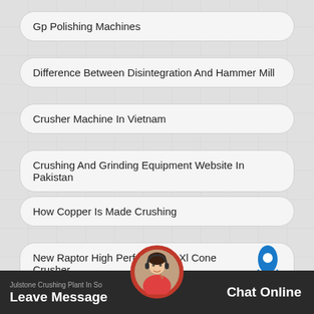Gp Polishing Machines
Difference Between Disintegration And Hammer Mill
Crusher Machine In Vietnam
Crushing And Grinding Equipment Website In Pakistan
How Copper Is Made Crushing
New Raptor High Performance Xl Cone Crusher
Julstone Crushing Plant In So   Leave Message   Chat Online